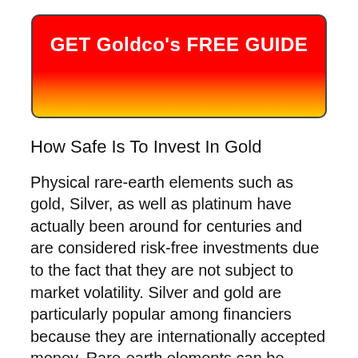[Figure (other): Red to yellow gradient button with bold white text reading GET Goldco's FREE GUIDE]
How Safe Is To Invest In Gold
Physical rare-earth elements such as gold, Silver, as well as platinum have actually been around for centuries and are considered risk-free investments due to the fact that they are not subject to market volatility. Silver and gold are particularly popular among financiers because they are internationally accepted money. Rare-earth elements can be saved in physical form or in an investment automobile such as a mutual fund or ETF.